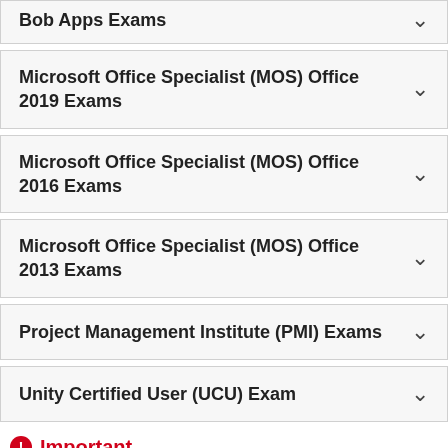Bob Apps Exams
Microsoft Office Specialist (MOS) Office 2019 Exams
Microsoft Office Specialist (MOS) Office 2016 Exams
Microsoft Office Specialist (MOS) Office 2013 Exams
Project Management Institute (PMI) Exams
Unity Certified User (UCU) Exam
Important
y hours